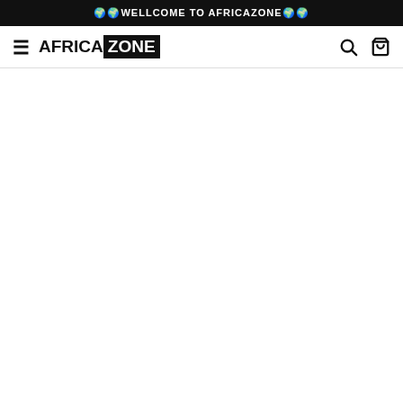🌍🌍WELLCOME TO AFRICAZONE🌍🌍
[Figure (logo): AfricaZone navigation bar with hamburger menu icon, AFRICAZONE logo (AFRICA in black bold text, ZONE in white on black box), search icon, and cart icon]